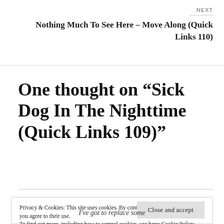NEXT
Nothing Much To See Here – Move Along (Quick Links 110)
One thought on “Sick Dog In The Nighttime (Quick Links 109)”
Privacy & Cookies: This site uses cookies. By continuing to use this website, you agree to their use.
To find out more, including how to control cookies, see here: Cookie Policy
Close and accept
I've got to replace some